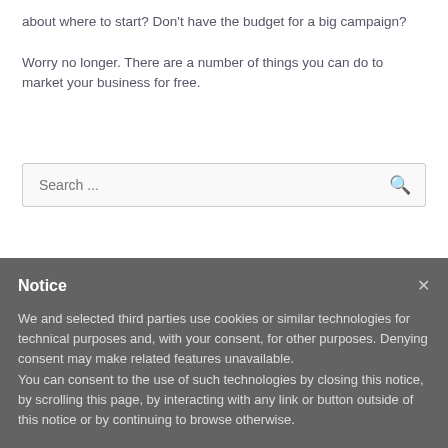about where to start? Don't have the budget for a big campaign?
Worry no longer. There are a number of things you can do to market your business for free.
Search ...
Notice
We and selected third parties use cookies or similar technologies for technical purposes and, with your consent, for other purposes. Denying consent may make related features unavailable.
You can consent to the use of such technologies by closing this notice, by scrolling this page, by interacting with any link or button outside of this notice or by continuing to browse otherwise.